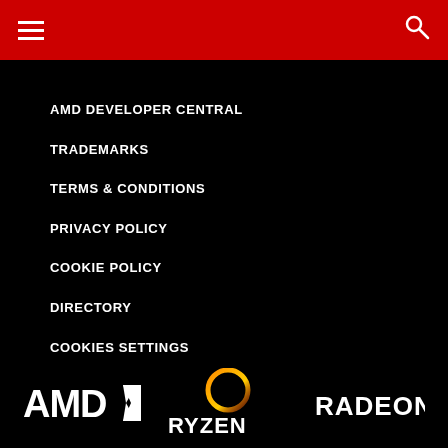Navigation header bar with hamburger menu and search icon
AMD DEVELOPER CENTRAL
TRADEMARKS
TERMS & CONDITIONS
PRIVACY POLICY
COOKIE POLICY
DIRECTORY
COOKIES SETTINGS
[Figure (logo): AMD logo, Ryzen logo with orange ring, Radeon logo — all white on black background at bottom of page]